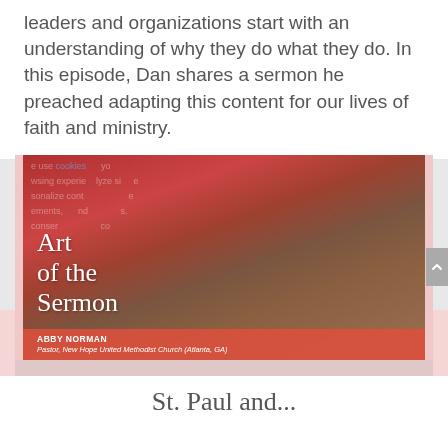leaders and organizations start with an understanding of why they do what they do. In this episode, Dan shares a sermon he preached adapting this content for our lives of faith and ministry.
[Figure (photo): Thumbnail image for 'Art of the Sermon' podcast episode featuring Abby Norman, Pastor at New Hope United Methodist Church (Atlanta, GA). Shows a smiling woman with purple glasses and a red/coral jacket, overlaid with a cookie consent banner. Text reads 'Art of the Sermon' in large serif font.]
St. Paul and...